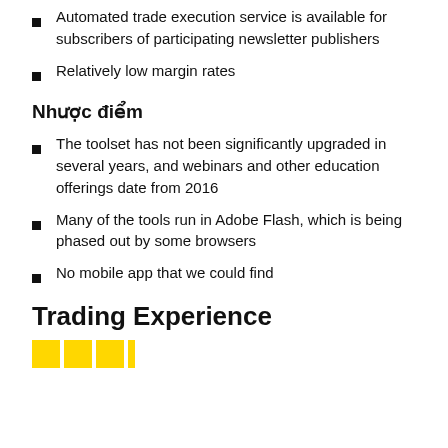Automated trade execution service is available for subscribers of participating newsletter publishers
Relatively low margin rates
Nhược điểm
The toolset has not been significantly upgraded in several years, and webinars and other education offerings date from 2016
Many of the tools run in Adobe Flash, which is being phased out by some browsers
No mobile app that we could find
Trading Experience
[Figure (other): Star/square rating graphic showing approximately 3.5 out of 5 yellow squares]